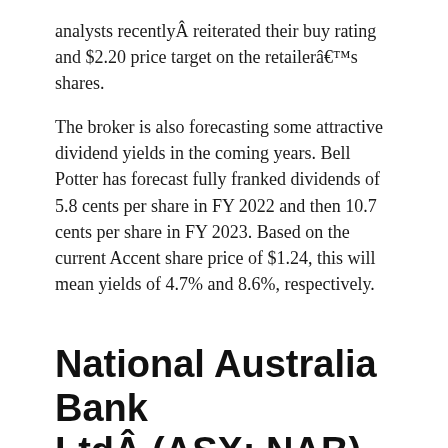analysts recentlyÂ reiterated their buy rating and $2.20 price target on the retailerâs shares.
The broker is also forecasting some attractive dividend yields in the coming years. Bell Potter has forecast fully franked dividends of 5.8 cents per share in FY 2022 and then 10.7 cents per share in FY 2023. Based on the current Accent share price of $1.24, this will mean yields of 4.7% and 8.6%, respectively.
National Australia Bank LtdÂ (ASX: NAB)
Another ASX dividend share to look at is banking giant NAB.
Its shares have also been hammered recently, along with